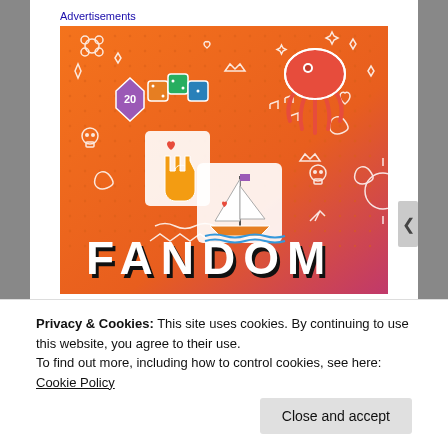Advertisements
[Figure (illustration): Fandom advertisement banner with orange-to-pink gradient background featuring illustrated stickers: dice, red squid, K-pop finger heart gesture, sailboat, skulls, doodles, and large FANDOM text at the bottom in bold block letters with shadow.]
Privacy & Cookies: This site uses cookies. By continuing to use this website, you agree to their use.
To find out more, including how to control cookies, see here: Cookie Policy
Close and accept